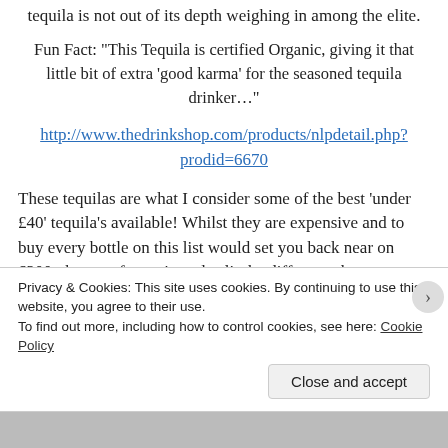tequila is not out of its depth weighing in among the elite.
Fun Fact: “This Tequila is certified Organic, giving it that little bit of extra ‘good karma’ for the seasoned tequila drinker…”
http://www.thedrinkshop.com/products/nlpdetail.php?prodid=6670
These tequilas are what I consider some of the best ‘under £40’ tequila’s available! Whilst they are expensive and to buy every bottle on this list would set you back near on £200, they are fantastic and split the difference between you and your friends and they become reasonably priced. Try all of them with a selection of citrus fruits, soft fruits (like peaches and apples),
Privacy & Cookies: This site uses cookies. By continuing to use this website, you agree to their use.
To find out more, including how to control cookies, see here: Cookie Policy
Close and accept